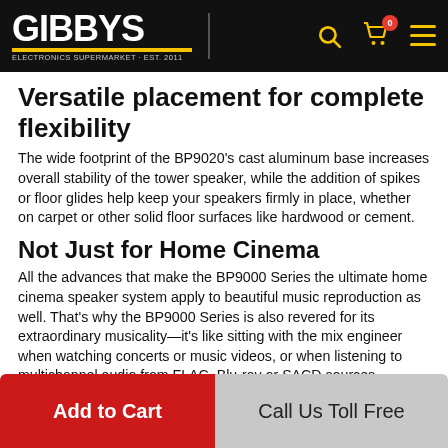GIBBYS ELECTRONICS SUPERMARKET EST. 2011
Versatile placement for complete flexibility
The wide footprint of the BP9020’s cast aluminum base increases overall stability of the tower speaker, while the addition of spikes or floor glides help keep your speakers firmly in place, whether on carpet or other solid floor surfaces like hardwood or cement.
Not Just for Home Cinema
All the advances that make the BP9000 Series the ultimate home cinema speaker system apply to beautiful music reproduction as well. That’s why the BP9000 Series is also revered for its extraordinary musicality—it’s like sitting with the mix engineer when watching concerts or music videos, or when listening to multichannel audio from FLAC, Blu-ray or SACD sources.
Add to Cart
Call Us Toll Free